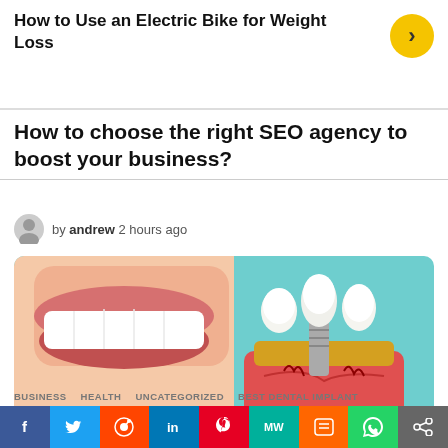How to Use an Electric Bike for Weight Loss
How to choose the right SEO agency to boost your business?
by andrew 2 hours ago
[Figure (photo): Person smiling holding a dental implant model with three teeth on a teal background. Image shows eye and share count: 0 views, 0 shares.]
BUSINESS   HEALTH   UNCATEGORIZED   BEST DENTAL IMPLANT
[Figure (infographic): Social sharing bar with icons: Facebook, Twitter, Reddit, LinkedIn, Pinterest, MW, Mix, WhatsApp, Share]